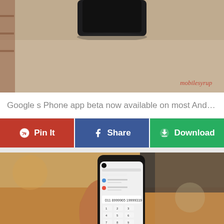[Figure (photo): Close-up photo of a dark smartphone resting on a textured beige/tan carpet surface, with mobilesyrup watermark in bottom right corner]
Google s Phone app beta now available on most Andro...
[Figure (infographic): Three action buttons: Pin It (red, Pinterest icon), Share (blue, Facebook icon), Download (green, download icon)]
[Figure (photo): Hand holding a modern Android smartphone displaying a phone dialer screen with a number pad, blurred warm background]